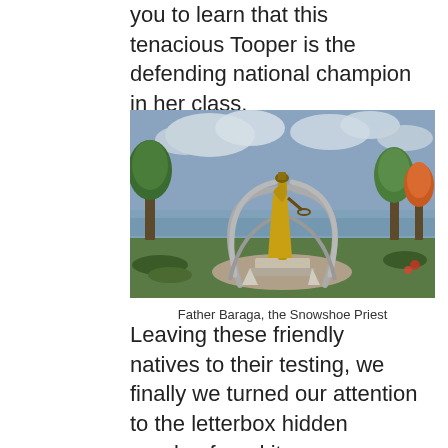you to learn that this tenacious Tooper is the defending national champion in her class.
[Figure (photo): Outdoor statue of Father Baraga, the Snowshoe Priest, on an elevated pedestal with arching supports, surrounded by trees and a lake in the background under a cloudy sky.]
Father Baraga, the Snowshoe Priest
Leaving these friendly natives to their testing, we finally we turned our attention to the letterbox hidden nearby; found it